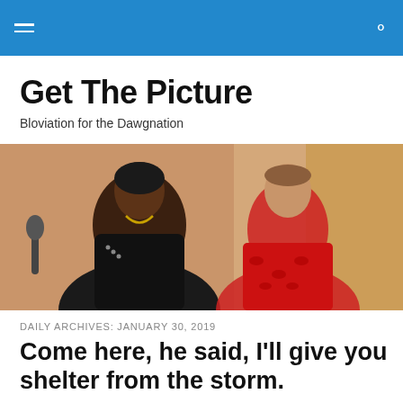Get The Picture — navigation bar with hamburger menu and search icon
Get The Picture
Bloviation for the Dawgnation
[Figure (photo): Two men sitting side by side. Left man wears a black leather jacket with studs and a gold chain; right man wears a red patterned shirt. Background appears to be an indoor setting.]
DAILY ARCHIVES: JANUARY 30, 2019
Come here, he said, I'll give you shelter from the storm.